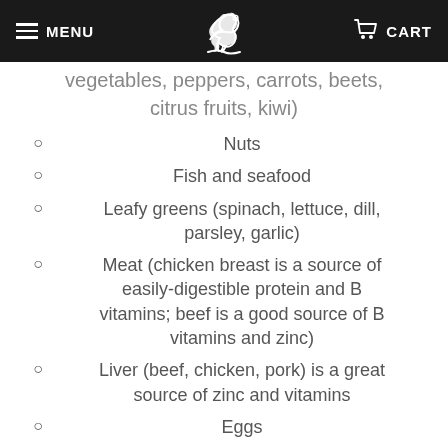MENU | [logo] | CART
vegetables, peppers, carrots, beets, citrus fruits, kiwi)
Nuts
Fish and seafood
Leafy greens (spinach, lettuce, dill, parsley, garlic)
Meat (chicken breast is a source of easily-digestible protein and B vitamins; beef is a good source of B vitamins and zinc)
Liver (beef, chicken, pork) is a great source of zinc and vitamins
Eggs
Legumes (beans, peas)
Grains (rolled oats, buckwheat)
Dairy products (cheese, feta, cottage cheese) are a source of protein and